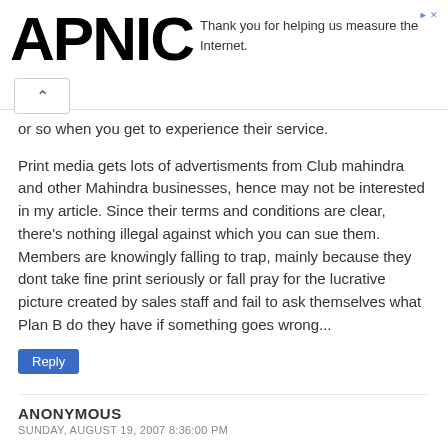APNIC
Thank you for helping us measure the Internet.
or so when you get to experience their service.
Print media gets lots of advertisments from Club mahindra and other Mahindra businesses, hence may not be interested in my article. Since their terms and conditions are clear, there's nothing illegal against which you can sue them. Members are knowingly falling to trap, mainly because they dont take fine print seriously or fall pray for the lucrative picture created by sales staff and fail to ask themselves what Plan B do they have if something goes wrong...
Reply
ANONYMOUS
SUNDAY, AUGUST 19, 2007 8:36:00 PM
I was interested in Club Mahindra,but your article was really illuminating.I am also a member of a time share with wide affiliation but getting reservation is tough.Most of the resorts are pretty far off so even